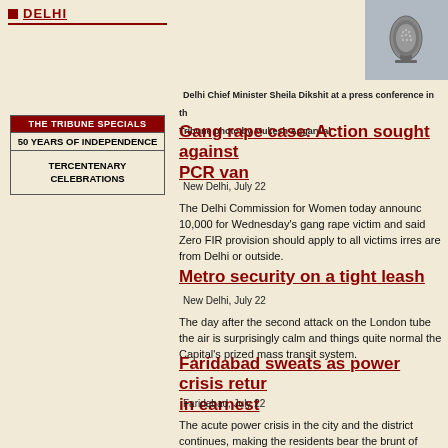DELHI
[Figure (photo): Close-up photo of a microphone]
Delhi Chief Minister Sheila Dikshit at a press conference in th Tribune photo by Mukesh Aggarwal
| THE TRIBUNE SPECIALS |
| 50 YEARS OF INDEPENDENCE |
| TERCENTENARY CELEBRATIONS |
Gang rape case: Action sought against PCR van
New Delhi, July 22
The Delhi Commission for Women today announc 10,000 for Wednesday's gang rape victim and said Zero FIR provision should apply to all victims irres are from Delhi or outside.
Metro security on a tight leash
New Delhi, July 22
The day after the second attack on the London tube the air is surprisingly calm and things quite normal the Capital's prized mass transit system.
Faridabad sweats as power crisis retur in earnest
Faridabad, July 22
The acute power crisis in the city and the district continues, making the residents bear the brunt of extreme humid conditions, with power department officials unable to say when the crisis will blow ov